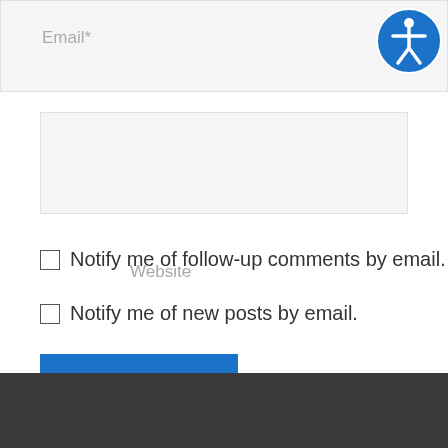Email*
[Figure (other): Accessibility icon - blue circle with white person figure (wheelchair accessible person symbol)]
Website
Notify me of follow-up comments by email.
Notify me of new posts by email.
Post Comment »